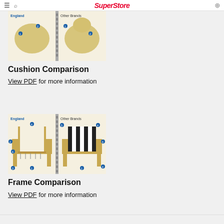SuperStore
[Figure (photo): Cushion comparison diagram showing England vs Other Brands cushion cross-sections with labeled components]
Cushion Comparison
View PDF for more information
[Figure (photo): Frame comparison diagram showing England vs Other Brands chair frame cross-sections with numbered components]
Frame Comparison
View PDF for more information